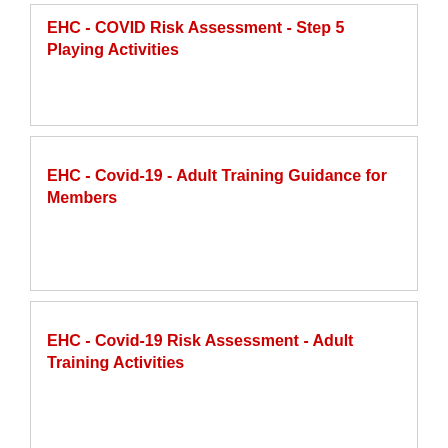EHC - COVID Risk Assessment - Step 5 Playing Activities
EHC - Covid-19 - Adult Training Guidance for Members
EHC - Covid-19 Risk Assessment - Adult Training Activities
EHC - Covid-19 Pitch Booking Guidance for Members - superceded